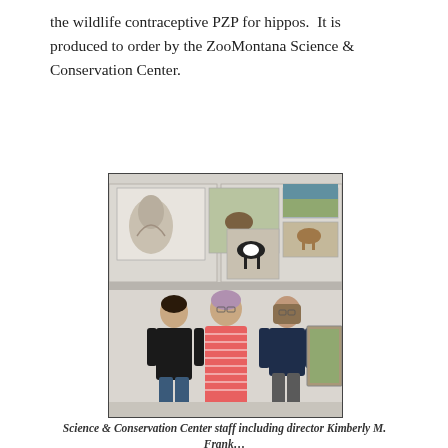the wildlife contraceptive PZP for hippos.  It is produced to order by the ZooMontana Science & Conservation Center.
[Figure (photo): Three women standing together in front of white cabinets decorated with photos of horses and other animals. The woman on the left wears a black top, the woman in the middle wears a pink striped dress, and the woman on the right wears a dark navy top.]
Science & Conservation Center staff including director Kimberly M. Frank…